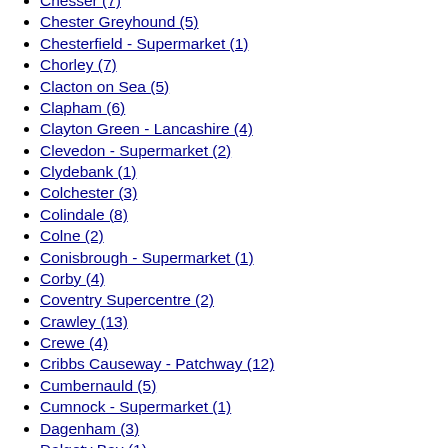Chesser (7)
Chester Greyhound (5)
Chesterfield - Supermarket (1)
Chorley (7)
Clacton on Sea (5)
Clapham (6)
Clayton Green - Lancashire (4)
Clevedon - Supermarket (2)
Clydebank (1)
Colchester (3)
Colindale (8)
Colne (2)
Conisbrough - Supermarket (1)
Corby (4)
Coventry Supercentre (2)
Crawley (13)
Crewe (4)
Cribbs Causeway - Patchway (12)
Cumbernauld (5)
Cumnock - Supermarket (1)
Dagenham (3)
Dalgety Bay (1)
Darlington (2)
Dartford - Ambient Distribution Centre (3)
Derby Supercentre (3)